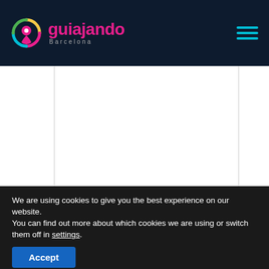guiajando Barcelona
[Figure (logo): Guiajando Barcelona logo with colorful circular location pin icon and pink brand name text]
[Figure (other): White content area with vertical border lines on left and right sides]
We are using cookies to give you the best experience on our website.
You can find out more about which cookies we are using or switch them off in settings.
Accept